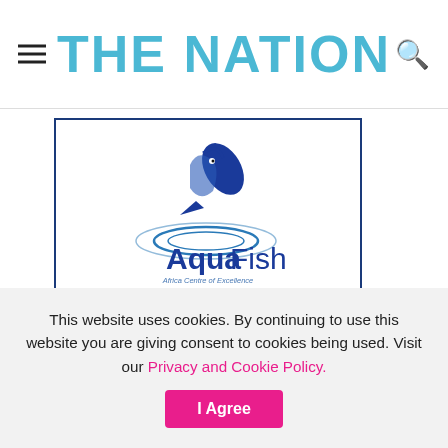THE NATION
[Figure (logo): AquaFish Africa Centre of Excellence logo — a blue fish jumping out of water rings above the text 'Aqua Fish Africa Centre of Excellence', all in blue, inside a blue-bordered rectangle]
This website uses cookies. By continuing to use this website you are giving consent to cookies being used. Visit our Privacy and Cookie Policy. I Agree